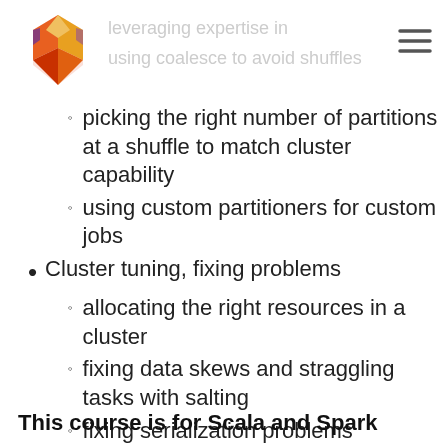[Figure (logo): Red and orange geometric crystal/hand logo]
picking the right number of partitions at a shuffle to match cluster capability
using custom partitioners for custom jobs
Cluster tuning, fixing problems
allocating the right resources in a cluster
fixing data skews and straggling tasks with salting
fixing serialization problems
using the right serializers for free perf improvements
This course is for Scala and Spark